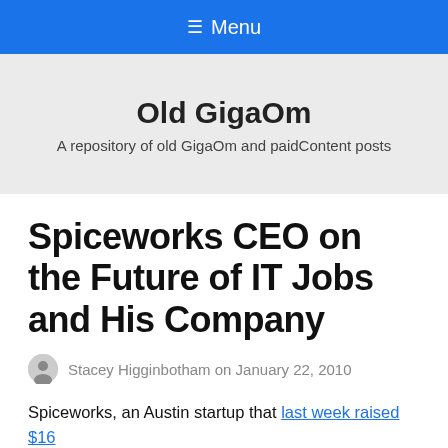≡ Menu
Old GigaOm
A repository of old GigaOm and paidContent posts
Spiceworks CEO on the Future of IT Jobs and His Company
Stacey Higginbotham on January 22, 2010
Spiceworks, an Austin startup that last week raised $16